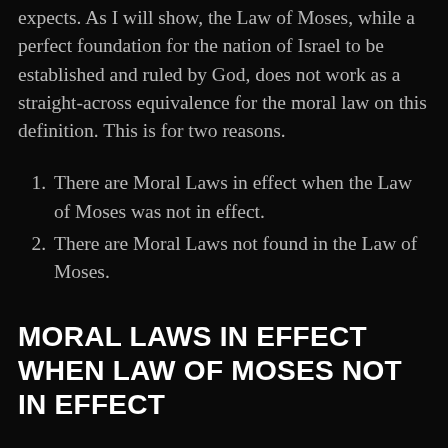expects. As I will show, the Law of Moses, while a perfect foundation for the nation of Israel to be established and ruled by God, does not work as a straight-across equivalence for the moral law on this definition. This is for two reasons.
There are Moral Laws in effect when the Law of Moses was not in effect.
There are Moral Laws not found in the Law of Moses.
MORAL LAWS IN EFFECT WHEN LAW OF MOSES NOT IN EFFECT
Let's start with the first item. If we go ahead with this broad definition of Moral Law, then, as we search the Scriptures for things God expects us to do, we find that some of those things, while